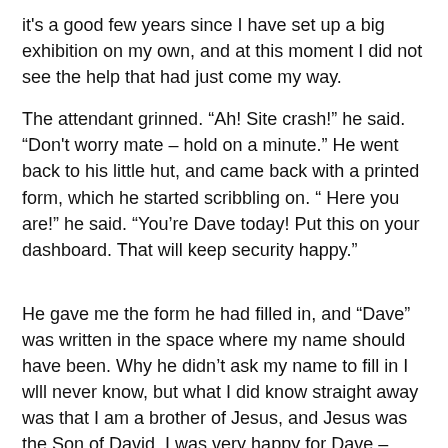it's a good few years since I have set up a big exhibition on my own, and at this moment I did not see the help that had just come my way.
The attendant grinned. “Ah! Site crash!” he said. “Don't worry mate – hold on a minute.” He went back to his little hut, and came back with a printed form, which he started scribbling on. “ Here you are!” he said. “You’re Dave today! Put this on your dashboard. That will keep security happy.”
He gave me the form he had filled in, and “Dave” was written in the space where my name should have been. Why he didn’t ask my name to fill in I wlll never know, but what I did know straight away was that I am a brother of Jesus, and Jesus was the Son of David. I was very happy for Dave – David – to be my name. Revelation 3: 7 says “And to the angel of the church in Philadelphia write, ‘These things says He who is holy, He who is true, “He who has the key of David, He who opens and no one